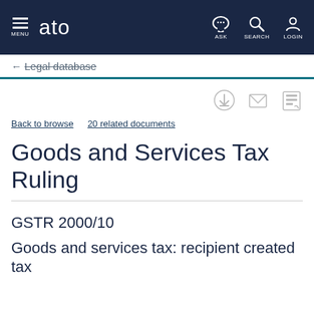ato — MENU, ASK, SEARCH, LOGIN
← Legal database
Back to browse   20 related documents
Goods and Services Tax Ruling
GSTR 2000/10
Goods and services tax: recipient created tax